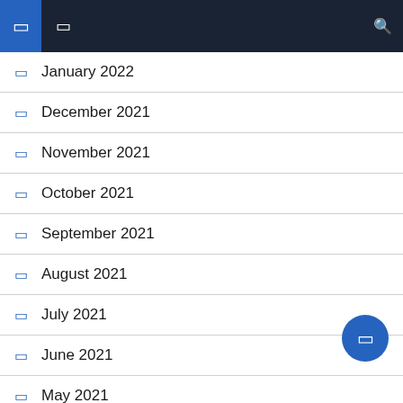navigation header with icons
January 2022
December 2021
November 2021
October 2021
September 2021
August 2021
July 2021
June 2021
May 2021
April 2021